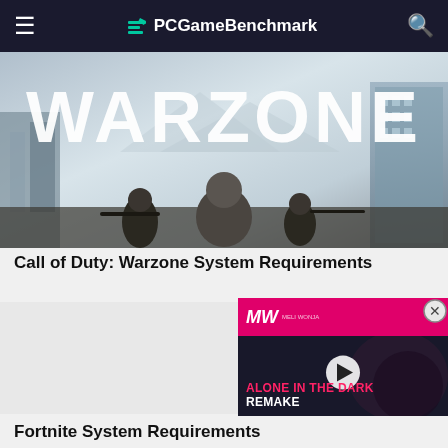PCGameBenchmark
[Figure (photo): Call of Duty: Warzone promotional image with large WARZONE text and armed soldiers in foreground against a cityscape background]
Call of Duty: Warzone System Requirements
[Figure (other): Video advertisement overlay for 'Alone in the Dark Remake' from MW (Meli Wonja) with pink header, play button, and text]
Fortnite System Requirements